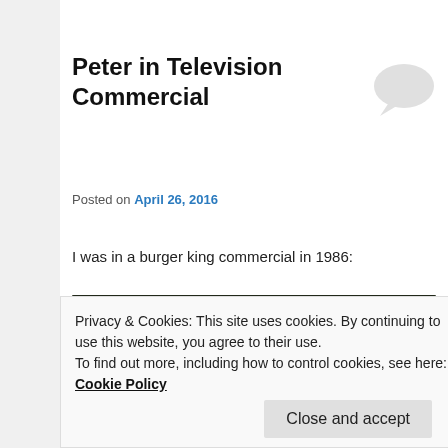Peter in Television Commercial
Posted on April 26, 2016
I was in a burger king commercial in 1986:
[Figure (screenshot): Embedded video thumbnail showing a Burger King commercial. Title overlay reads 'Burger King commercial-...' A person is drinking outdoors near a yellow sign partially showing 'BIK XIN'.]
Privacy & Cookies: This site uses cookies. By continuing to use this website, you agree to their use.
To find out more, including how to control cookies, see here: Cookie Policy